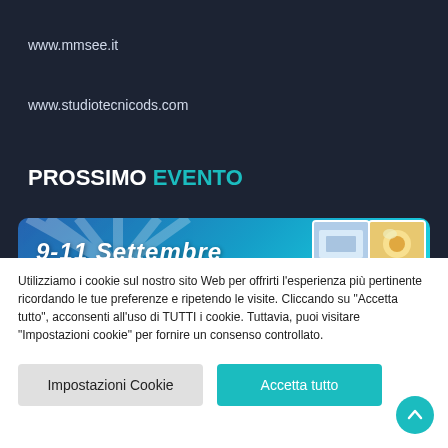www.mmsee.it
www.studiotecnicods.com
PROSSIMO EVENTO
[Figure (other): Event banner showing '9-11 Settembre' with blue gradient background and food photos on the right]
Utilizziamo i cookie sul nostro sito Web per offrirti l'esperienza più pertinente ricordando le tue preferenze e ripetendo le visite. Cliccando su "Accetta tutto", acconsenti all'uso di TUTTI i cookie. Tuttavia, puoi visitare "Impostazioni cookie" per fornire un consenso controllato.
Impostazioni Cookie
Accetta tutto